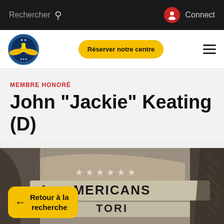Rechercher   Connect
[Figure (logo): Circular organization logo with wings and trophy, blue and gold colors]
Réserver notre centre
MEMBRE HONORÉ
John "Jackie" Keating (D)
[Figure (illustration): Black and white vintage illustration showing American imagery with text 'AMERICANS' and stars, flag-like elements]
← Retour à la recherche